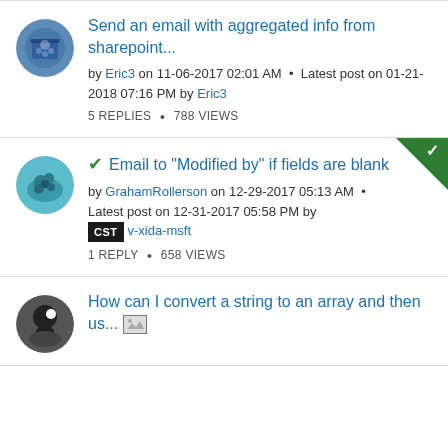Send an email with aggregated info from sharepoint... by Eric3 on 11-06-2017 02:01 AM · Latest post on 01-21-2018 07:16 PM by Eric3 | 5 REPLIES · 788 VIEWS
✓ Email to "Modified by" if fields are blank by GrahamRollerson on 12-29-2017 05:13 AM · Latest post on 12-31-2017 05:58 PM by CST v-xida-msft | 1 REPLY · 658 VIEWS
How can I convert a string to an array and then us... [image]